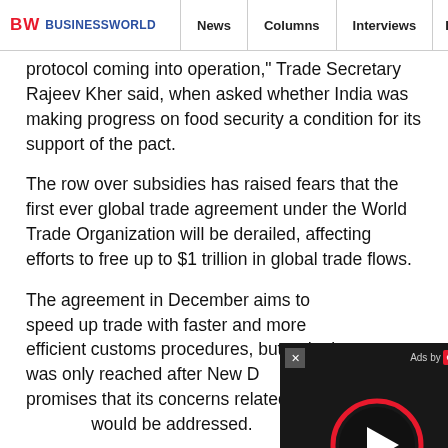BW BUSINESSWORLD | News | Columns | Interviews | BW
protocol coming into operation," Trade Secretary Rajeev Kher said, when asked whether India was making progress on food security a condition for its support of the pact.
The row over subsidies has raised fears that the first ever global trade agreement under the World Trade Organization will be derailed, affecting efforts to free up to $1 trillion in global trade flows.
The agreement in December aims to speed up trade with faster and more efficient customs procedures, but a deal was only reached after New D[elhi was given] promises that its concerns related to [food security] would be addressed.
India stockpiles food for its poor, put[ting it at risk of] breaking current WTO rules. In Bali, [members agreed...]
[Figure (screenshot): Video ad overlay with dark background, close button (x), 'Ads by eRG' label, and a circular play button with red ring.]